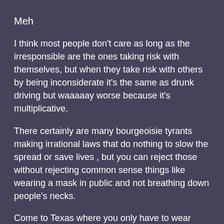Meh
I think most people don't care as long as the irresponsible are the ones taking risk with themselves, but when they take risk with others by being inconsiderate it's the same as drunk driving but waaaaay worse because it's multiplicative.
There certainly are many bourgeoisie tyrants making irrational laws that do nothing to slow the spread or save lives , but you can reject those without rejecting common sense things like wearing a mask in public and not breathing down people's necks.
Come to Texas where you only have to wear mask in buildings and there is nothing else, in some parts of texas there is not even masking, nobody would do it so it is unenforceable. you can also just die for anything here because you have no medical care unless you are rich.
"...